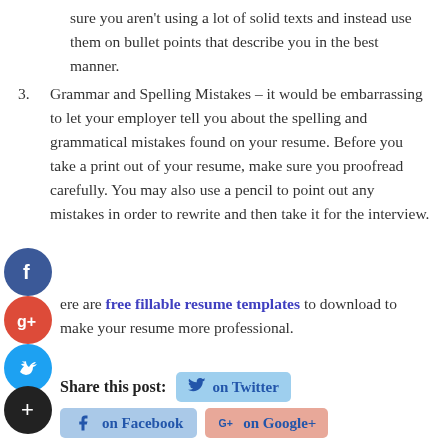sure you aren't using a lot of solid texts and instead use them on bullet points that describe you in the best manner.
Grammar and Spelling Mistakes – it would be embarrassing to let your employer tell you about the spelling and grammatical mistakes found on your resume. Before you take a print out of your resume, make sure you proofread carefully. You may also use a pencil to point out any mistakes in order to rewrite and then take it for the interview.
There are free fillable resume templates to download to make your resume more professional.
Share this post: on Twitter on Facebook on Google+